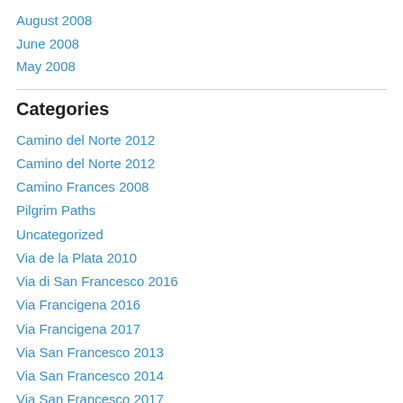August 2008
June 2008
May 2008
Categories
Camino del Norte 2012
Camino del Norte 2012
Camino Frances 2008
Pilgrim Paths
Uncategorized
Via de la Plata 2010
Via di San Francesco 2016
Via Francigena 2016
Via Francigena 2017
Via San Francesco 2013
Via San Francesco 2014
Via San Francesco 2017
Way of St Francis book